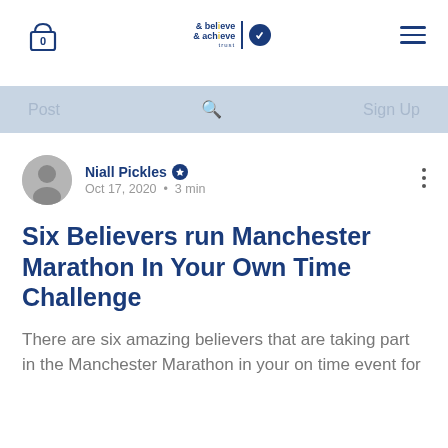0 | Believe & Achieve Trust logo | menu
Post   🔍   Sign Up
Niall Pickles ★
Oct 17, 2020 · 3 min
Six Believers run Manchester Marathon In Your Own Time Challenge
There are six amazing believers that are taking part in the Manchester Marathon in your on time event for